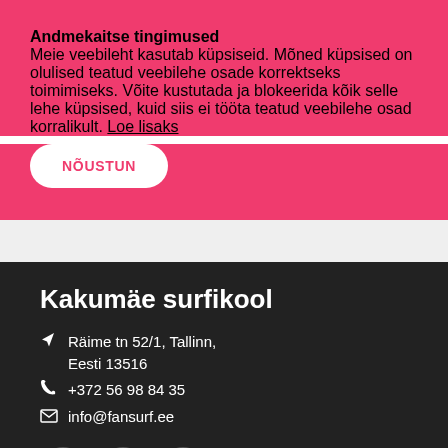Andmekaitse tingimused
Meie veebileht kasutab küpsiseid. Mõned küpsised on olulised teatud veebilehe osade korrektseks toimimiseks. Võite kustutada ja blokeerida kõik selle lehe küpsised, kuid siis ei tööta teatud veebilehe osad korralikult. Loe lisaks
NÕUSTUN
Kakumäe surfikool
Räime tn 52/1, Tallinn, Eesti 13516
+372 56 98 84 35
info@fansurf.ee